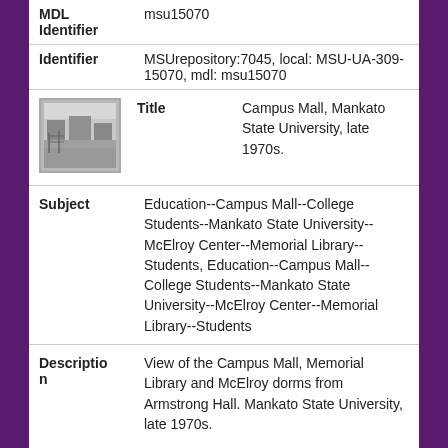MDL Identifier: msu15070
Identifier: MSUrepository:7045, local: MSU-UA-309-15070, mdl: msu15070
[Figure (photo): Small black and white thumbnail photo of the Campus Mall area]
Title: Campus Mall, Mankato State University, late 1970s.
Subject: Education--Campus Mall--College Students--Mankato State University--McElroy Center--Memorial Library--Students, Education--Campus Mall--College Students--Mankato State University--McElroy Center--Memorial Library--Students
Description: View of the Campus Mall, Memorial Library and McElroy dorms from Armstrong Hall. Mankato State University, late 1970s.